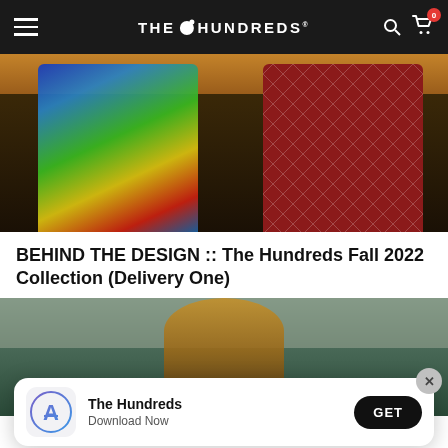THE HUNDREDS
[Figure (photo): Two people standing outdoors at sunset — one wearing a colorful tropical/painterly print shirt, the other in a red and white houndstooth shirt]
BEHIND THE DESIGN :: The Hundreds Fall 2022 Collection (Delivery One)
[Figure (photo): Person wearing a cap standing in front of a brick/storefront background]
[Figure (other): App store smart banner — The Hundreds app icon (App Store icon style with blue/purple gradient circle), text: 'The Hundreds / Download Now', GET button]